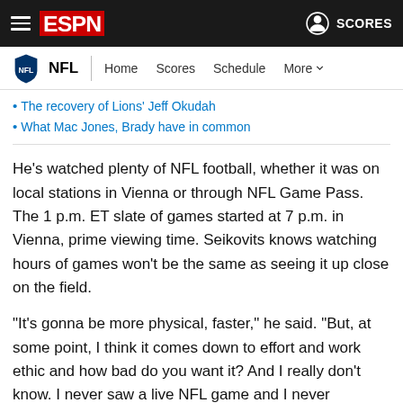ESPN - NFL - Home Scores Schedule More
The recovery of Lions' Jeff Okudah
What Mac Jones, Brady have in common
He's watched plenty of NFL football, whether it was on local stations in Vienna or through NFL Game Pass. The 1 p.m. ET slate of games started at 7 p.m. in Vienna, prime viewing time. Seikovits knows watching hours of games won't be the same as seeing it up close on the field.
"It's gonna be more physical, faster," he said. "But, at some point, I think it comes down to effort and work ethic and how bad do you want it? And I really don't know. I never saw a live NFL game and I never practiced with the guys. I just saw it on TV. So, of course, I don't know what to expect, but I'm looking forward to it."